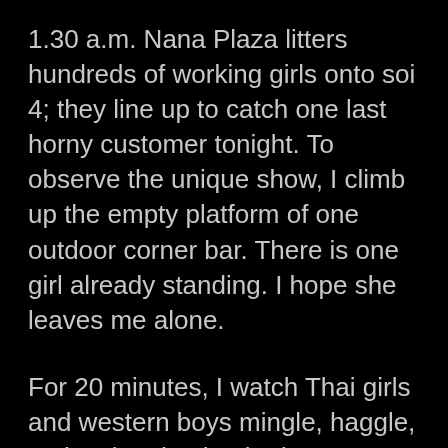1.30 a.m. Nana Plaza litters hundreds of working girls onto soi 4; they line up to catch one last horny customer tonight. To observe the unique show, I climb up the empty platform of one outdoor corner bar. There is one girl already standing. I hope she leaves me alone.
For 20 minutes, I watch Thai girls and western boys mingle, haggle, cruise, laugh, check, depart, even come back. Tall katoeys float up and down above the rest, while soi dogs, kids and disabled beggars scratch the ground floor. Two farangs stumble out torn and blood covered.
The girl next to me had said no word. I risk an eye